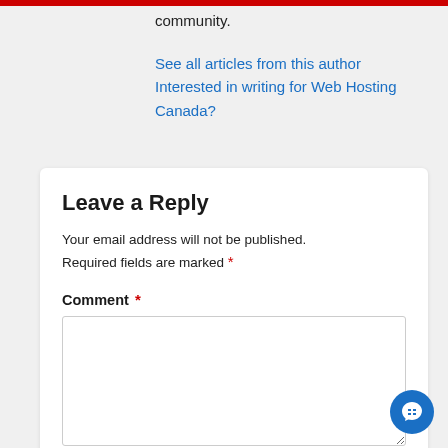community.
See all articles from this author
Interested in writing for Web Hosting Canada?
Leave a Reply
Your email address will not be published. Required fields are marked *
Comment *
Please note that replies containing links will not be published.
Name